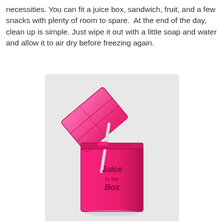necessities. You can fit a juice box, sandwich, fruit, and a few snacks with plenty of room to spare.  At the end of the day, clean up is simple. Just wipe it out with a little soap and water and allow it to air dry before freezing again.
[Figure (photo): A pink transparent reusable juice box container with a flip-open lid and a straw, labeled 'Juice in the Box' on the front]